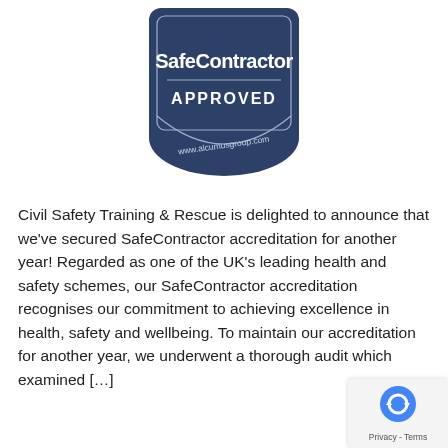[Figure (logo): SafeContractor Approved badge/seal — dark navy blue shield/badge shape with text 'SafeContractor' in large white letters, 'APPROVED' in bold white capitals, and 'www.alcumusgroup.com' in smaller white text at the bottom of the badge.]
Civil Safety Training & Rescue is delighted to announce that we've secured SafeContractor accreditation for another year! Regarded as one of the UK's leading health and safety schemes, our SafeContractor accreditation recognises our commitment to achieving excellence in health, safety and wellbeing. To maintain our accreditation for another year, we underwent a thorough audit which examined […]